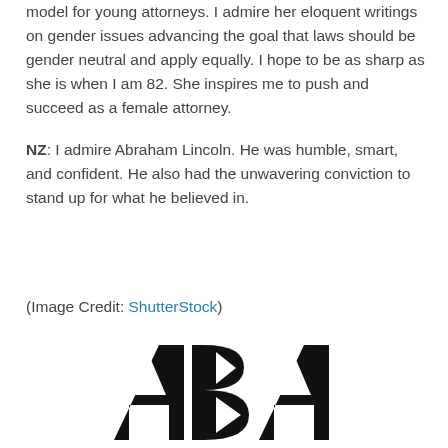model for young attorneys. I admire her eloquent writings on gender issues advancing the goal that laws should be gender neutral and apply equally. I hope to be as sharp as she is when I am 82. She inspires me to push and succeed as a female attorney.
NZ: I admire Abraham Lincoln. He was humble, smart, and confident. He also had the unwavering conviction to stand up for what he believed in.
(Image Credit: ShutterStock)
[Figure (logo): ABA (American Bar Association) logo in black with TM mark]